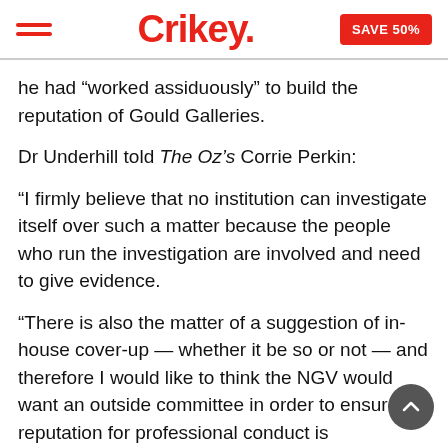Crikey. SAVE 50%
he had “worked assiduously” to build the reputation of Gould Galleries.
Dr Underhill told The Oz’s Corrie Perkin:
“I firmly believe that no institution can investigate itself over such a matter because the people who run the investigation are involved and need to give evidence.
“There is also the matter of a suggestion of in-house cover-up — whether it be so or not — and therefore I would like to think the NGV would want an outside committee in order to ensure its reputation for professional conduct is maintained.”